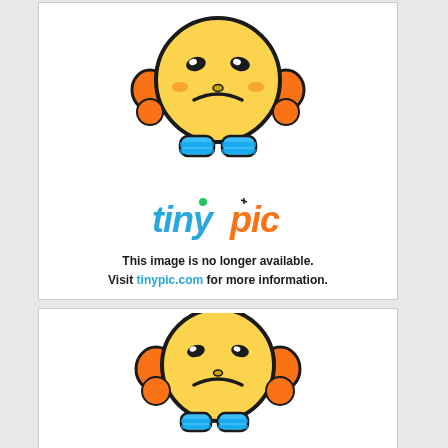[Figure (illustration): Tinypic.com placeholder image showing a sad yellow emoji character with orange ears and blue feet, the tinypic logo, and the text 'This image is no longer available. Visit tinypic.com for more information.']
[Figure (illustration): Second Tinypic.com placeholder image showing a sad yellow emoji face character with orange sides and blue feet at the bottom of the page.]